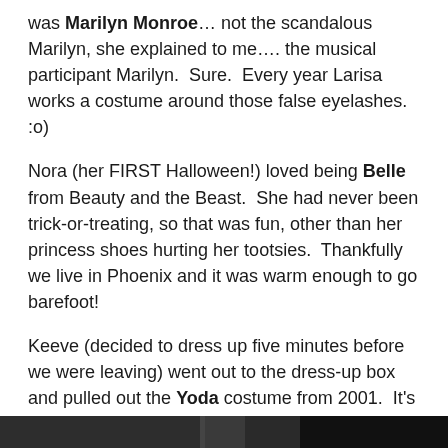was Marilyn Monroe… not the scandalous Marilyn, she explained to me…. the musical participant Marilyn.  Sure.  Every year Larisa works a costume around those false eyelashes.  :o)
Nora (her FIRST Halloween!) loved being Belle from Beauty and the Beast.  She had never been trick-or-treating, so that was fun, other than her princess shoes hurting her tootsies.  Thankfully we live in Phoenix and it was warm enough to go barefoot!
Keeve (decided to dress up five minutes before we were leaving) went out to the dress-up box and pulled out the Yoda costume from 2001.  It's a mini-skirt now, but the mask works.  He quickly sawed off a broom handle and had a cane.
[Figure (photo): A dark photo strip at the bottom of the page, partially visible, showing a Halloween scene.]